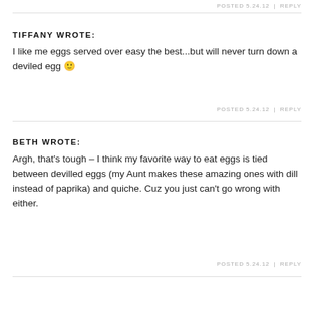POSTED 5.24.12  |  REPLY
TIFFANY WROTE:
I like me eggs served over easy the best...but will never turn down a deviled egg 🙂
POSTED 5.24.12  |  REPLY
BETH WROTE:
Argh, that's tough – I think my favorite way to eat eggs is tied between devilled eggs (my Aunt makes these amazing ones with dill instead of paprika) and quiche. Cuz you just can't go wrong with either.
POSTED 5.24.12  |  REPLY